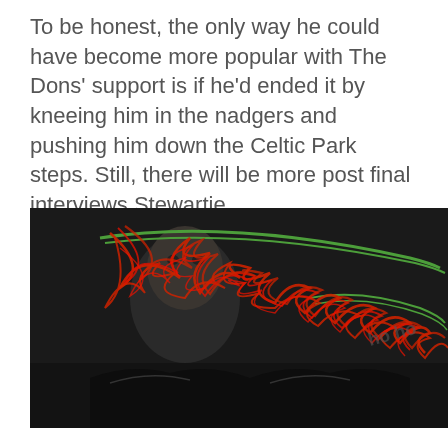To be honest, the only way he could have become more popular with The Dons' support is if he'd ended it by kneeing him in the nadgers and pushing him down the Celtic Park steps. Still, there will be more post final interviews Stewartie...
[Figure (photo): Person's face partially visible with chaotic red and green scribble/drawing overlaid on top, dark background. Cookie consent overlay bar at bottom of image with OK and Privacy settings buttons.]
This site uses cookies. By continuing to browse the site, you are agreeing to our use of cookies.